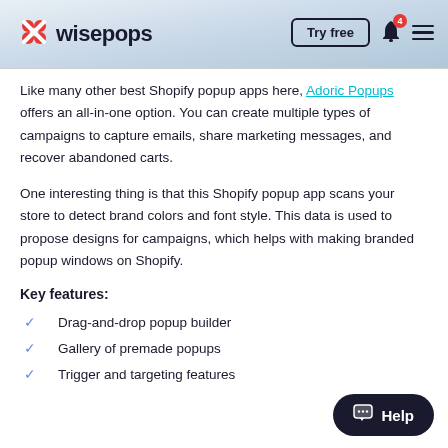wisepops — Try free
Like many other best Shopify popup apps here, Adoric Popups offers an all-in-one option. You can create multiple types of campaigns to capture emails, share marketing messages, and recover abandoned carts.
One interesting thing is that this Shopify popup app scans your store to detect brand colors and font style. This data is used to propose designs for campaigns, which helps with making branded popup windows on Shopify.
Key features:
Drag-and-drop popup builder
Gallery of premade popups
Trigger and targeting features